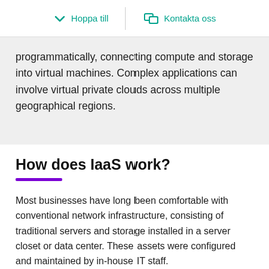Hoppa till   Kontakta oss
programmatically, connecting compute and storage into virtual machines. Complex applications can involve virtual private clouds across multiple geographical regions.
How does IaaS work?
Most businesses have long been comfortable with conventional network infrastructure, consisting of traditional servers and storage installed in a server closet or data center. These assets were configured and maintained by in-house IT staff.